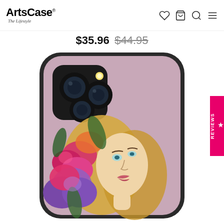ArtsCase® The Lifestyle
$35.96 $44.95
[Figure (photo): ArtsCase phone case product photo showing a tough iPhone case with a pink/mauve background featuring an illustrated blonde woman with colorful tropical flowers (orchids, peonies in pink, purple, orange) covering the left side of her face.]
★ REVIEWS